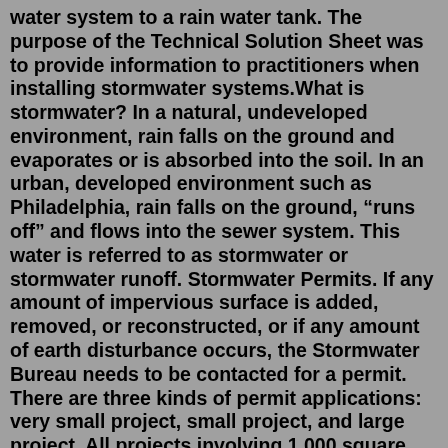water system to a rain water tank. The purpose of the Technical Solution Sheet was to provide information to practitioners when installing stormwater systems.What is stormwater? In a natural, undeveloped environment, rain falls on the ground and evaporates or is absorbed into the soil. In an urban, developed environment such as Philadelphia, rain falls on the ground, “runs off” and flows into the sewer system. This water is referred to as stormwater or stormwater runoff. Stormwater Permits. If any amount of impervious surface is added, removed, or reconstructed, or if any amount of earth disturbance occurs, the Stormwater Bureau needs to be contacted for a permit. There are three kinds of permit applications: very small project, small project, and large project. All projects involving 1,000 square feet or more ... HYDRAULIC GRADE LINE & "CHARGED" STORM WATER PIPES. WATER DRAINING INTO TANKS ETC. A "charged" pipe is a pipe that stays full, as in a downpipe from a roof that drops below ground and rises up again into the